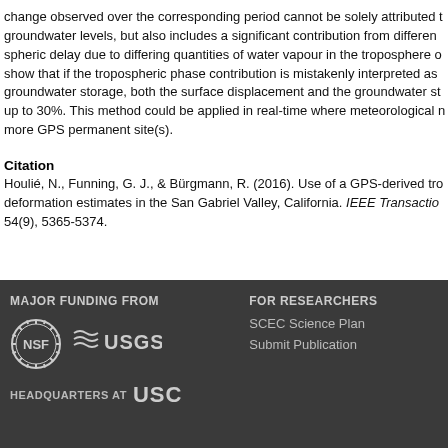change observed over the corresponding period cannot be solely attributed to groundwater levels, but also includes a significant contribution from different spheric delay due to differing quantities of water vapour in the troposphere o show that if the tropospheric phase contribution is mistakenly interpreted as groundwater storage, both the surface displacement and the groundwater st up to 30%. This method could be applied in real-time where meteorological m more GPS permanent site(s).
Citation
Houlié, N., Funning, G. J., & Bürgmann, R. (2016). Use of a GPS-derived tro deformation estimates in the San Gabriel Valley, California. IEEE Transactio 54(9), 5365-5374.
MAJOR FUNDING FROM | FOR RESEARCHERS | SCEC Science Plan | Submit Publication | HEADQUARTERS AT USC